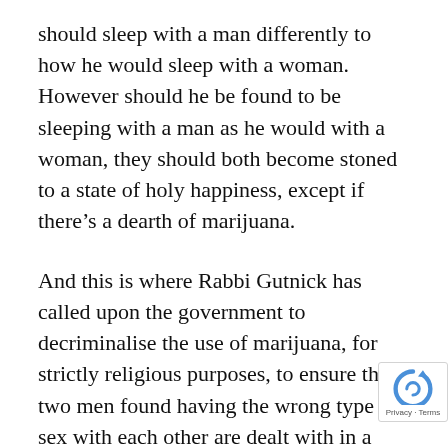should sleep with a man differently to how he would sleep with a woman.  However should he be found to be sleeping with a man as he would with a woman, they should both become stoned to a state of holy happiness, except if there's a dearth of marijuana.
And this is where Rabbi Gutnick has called upon the government to decriminalise the use of marijuana, for strictly religious purposes, to ensure that two men found having the wrong type of sex with each other are dealt with in a more humane and appropriate fashion.  The pool of rabbis agreed that each man should be given a bong and a quantity of marijuana and be instructed to smoke the other man's pipe